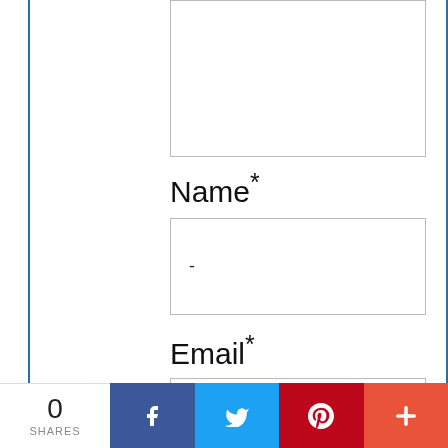[Figure (screenshot): Top portion of a web comment form showing a partially visible text area at the top (cropped), a Name field with dash placeholder, an Email field with dash placeholder, and a Comment field with 'Enter your comment here...' placeholder text. A vertical blue border runs along the left side.]
Name*
-
Email*
-
Comment
Enter your comment here...
0 SHARES  [Facebook] [Twitter] [Pinterest] [More]